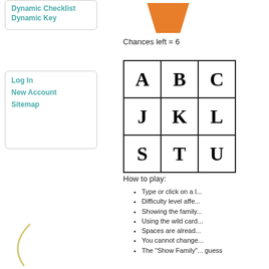Dynamic Checklist
Dynamic Key
Log In
New Account
Sitemap
[Figure (illustration): Orange trapezoid bucket shape representing hangman game chances remaining, with text 'Chances left = 6']
Chances left = 6
[Figure (table-as-image): 3x3 grid of letter tiles showing A, B, C in row 1; J, K, L in row 2; S, T, U in row 3]
How to play:
Type or click on a l...
Difficulty level affe...
Showing the family...
Using the wild card...
Spaces are alread...
You cannot change...
The "Show Family"... guess